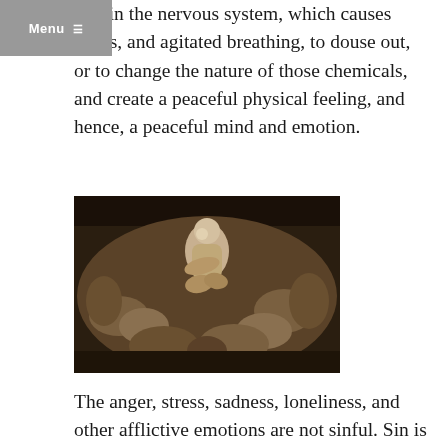Menu
within the nervous system, which causes stress, and agitated breathing, to douse out, or to change the nature of those chemicals, and create a peaceful physical feeling, and hence, a peaceful mind and emotion.
[Figure (photo): A sculpture showing The Thinker by Rodin atop the Gates of Hell, surrounded by numerous human figures in various poses of anguish and movement, rendered in dark bronze tones.]
The anger, stress, sadness, loneliness, and other afflictive emotions are not sinful. Sin is not